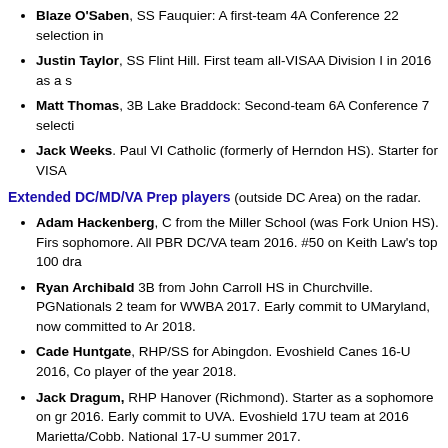Blaze O'Saben, SS Fauquier: A first-team 4A Conference 22 selection in...
Justin Taylor, SS Flint Hill. First team all-VISAA Division I in 2016 as a s...
Matt Thomas, 3B Lake Braddock: Second-team 6A Conference 7 selecti...
Jack Weeks. Paul VI Catholic (formerly of Herndon HS). Starter for VISA...
Extended DC/MD/VA Prep players (outside DC Area) on the radar.
Adam Hackenberg, C from the Miller School (was Fork Union HS). First sophomore. All PBR DC/VA team 2016. #50 on Keith Law's top 100 dra...
Ryan Archibald 3B from John Carroll HS in Churchville. PGNationals 20... team for WWBA 2017. Early commit to UMaryland, now committed to Ar... 2018.
Cade Huntgate, RHP/SS for Abingdon. Evoshield Canes 16-U 2016, Co... player of the year 2018.
Jack Dragum, RHP Hanover (Richmond). Starter as a sophomore on gr... 2016. Early commit to UVA. Evoshield 17U team at 2016 Marietta/Cobb... National 17-U summer 2017.
Wesley Clarke, C with Liberty Christian Academy. 2016 Region 4A Wes... All PBR DC/VA team 2016. Evoshield National 17U team for WWBA 201...
Stephen Pelli, RHP for St. Marys in Arnold, Maryland. Evoshield Canes... WWBA 2017. PGNationals 2017. Early commit to Virginia Tech, now No...
Matt Sykes, LHP/OF from the Miller School in Richmond. Evoshields 17...
Tevin Tucker, SS from Prince George HS in Prince George VA. Virgin...